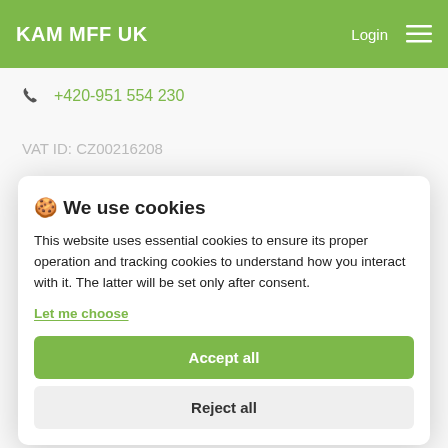KAM MFF UK  Login ≡
+420-951 554 230
VAT ID: CZ00216208
🍪 We use cookies
This website uses essential cookies to ensure its proper operation and tracking cookies to understand how you interact with it. The latter will be set only after consent.
Let me choose
Accept all
Charles University, Faculty of Mathematics and Physics
Department of Logic
Reject all